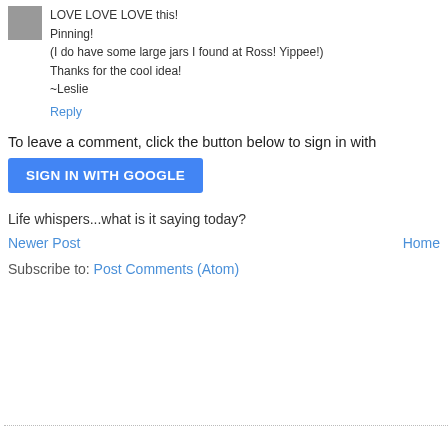LOVE LOVE LOVE this!
Pinning!
(I do have some large jars I found at Ross! Yippee!)
Thanks for the cool idea!
~Leslie
Reply
To leave a comment, click the button below to sign in with
SIGN IN WITH GOOGLE
Life whispers...what is it saying today?
Newer Post
Home
Subscribe to: Post Comments (Atom)